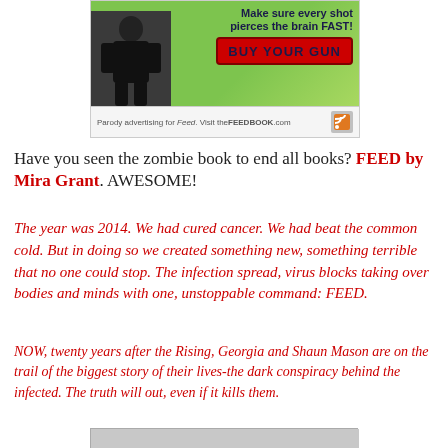[Figure (illustration): Parody advertisement for zombie book 'Feed'. Shows a person with a gun on a green background with text 'Make sure every shot pierces the brain FAST!' and a red 'BUY YOUR GUN' button. Footer says 'Parody advertising for Feed. Visit theFEEDBOOK.com']
Have you seen the zombie book to end all books? FEED by Mira Grant. AWESOME!
The year was 2014. We had cured cancer. We had beat the common cold. But in doing so we created something new, something terrible that no one could stop. The infection spread, virus blocks taking over bodies and minds with one, unstoppable command: FEED.
NOW, twenty years after the Rising, Georgia and Shaun Mason are on the trail of the biggest story of their lives-the dark conspiracy behind the infected. The truth will out, even if it kills them.
[Figure (photo): Partial image cropped at bottom of page, appears to be a photo related to the book Feed]